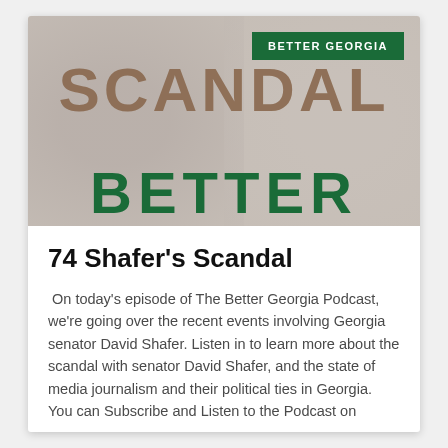[Figure (photo): Podcast cover image showing the word SCANDAL in large bronze/brown letters and BETTER in large green letters at the bottom, with faded human figures in the background. A green badge reading BETTER GEORGIA appears in the top right corner.]
74 Shafer's Scandal
On today's episode of The Better Georgia Podcast, we're going over the recent events involving Georgia senator David Shafer. Listen in to learn more about the scandal with senator David Shafer, and the state of media journalism and their political ties in Georgia. You can Subscribe and Listen to the Podcast on